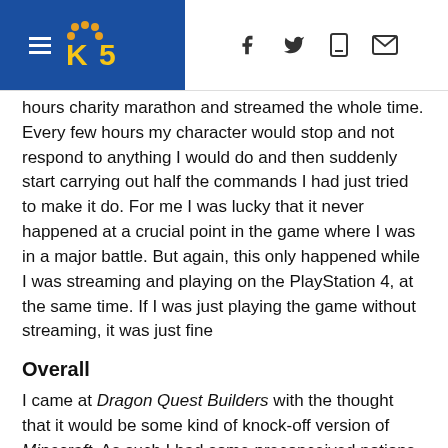KING5 News - navigation header with logo, hamburger menu, and social icons
hours charity marathon and streamed the whole time. Every few hours my character would stop and not respond to anything I would do and then suddenly start carrying out half the commands I had just tried to make it do. For me I was lucky that it never happened at a crucial point in the game where I was in a major battle. But again, this only happened while I was streaming and playing on the PlayStation 4, at the same time. If I was just playing the game without streaming, it was just fine
Overall
I came at Dragon Quest Builders with the thought that it would be some kind of knock-off version of Minecraft. As such I had some preconceived notions of what I was going to get. As I played, getting into the adventure and building, those preconceived notions fell to the wayside. Square Enix did a good job splicing together an RPG with a world building crafting game. The camera system needs some